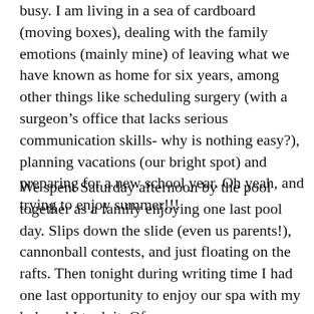busy. I am living in a sea of cardboard (moving boxes), dealing with the family emotions (mainly mine) of leaving what we have known as home for six years, among other things like scheduling surgery (with a surgeon's office that lacks serious communication skills- why is nothing easy?), planning vacations (our bright spot) and preparing for a new school year. Oh yeah, and trying to enjoy summer!!!
We spent Saturday afternoon by the pool together as a family enjoying one last pool day. Slips down the slide (even us parents!), cannonball contests, and just floating on the rafts. Then tonight during writing time I had one last opportunity to enjoy our spa with my hub and I took it. Of
Privacy & Cookies: This site uses cookies. By continuing to use this website, you agree to their use. To find out more, including how to control cookies, see here: Cookie Policy
Close and accept
happy to say that I'm excited! I will still be in a sea of